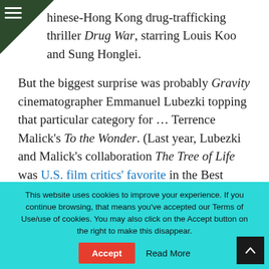Chinese-Hong Kong drug-trafficking thriller Drug War, starring Louis Koo and Sung Honglei.
But the biggest surprise was probably Gravity cinematographer Emmanuel Lubezki topping that particular category for … Terrence Malick's To the Wonder. (Last year, Lubezki and Malick's collaboration The Tree of Life was U.S. film critics' favorite in the Best Cinematography category.)
This website uses cookies to improve your experience. If you continue browsing, that means you've accepted our Terms of Use/use of cookies. You may also click on the Accept button on the right to make this disappear.